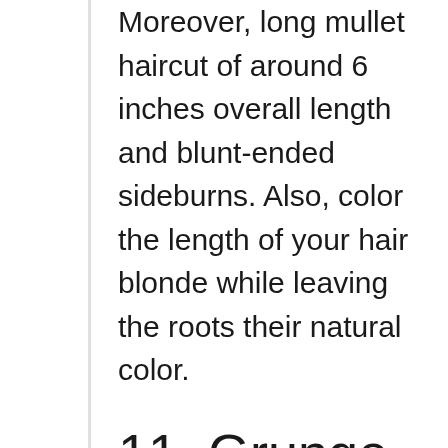Moreover, long mullet haircut of around 6 inches overall length and blunt-ended sideburns. Also, color the length of your hair blonde while leaving the roots their natural color.
11. Grunge Mullet Hairstyles for Men
Also, the high street-inspired grunge mullet is a modern interpretation of the classic version, this time with shorter back strands and a wide fringe cut to reach half of the